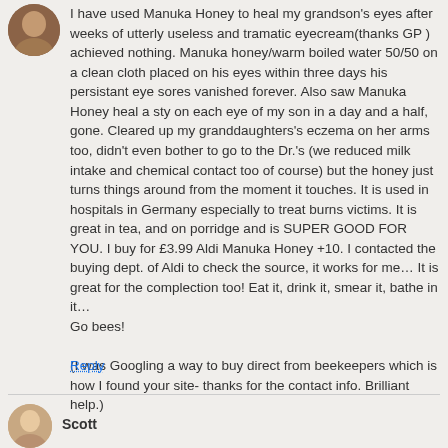[Figure (photo): Circular avatar/profile photo showing a person, partially visible at top-left]
I have used Manuka Honey to heal my grandson's eyes after weeks of utterly useless and tramatic eyecream(thanks GP ) achieved nothing. Manuka honey/warm boiled water 50/50 on a clean cloth placed on his eyes within three days his persistant eye sores vanished forever. Also saw Manuka Honey heal a sty on each eye of my son in a day and a half, gone. Cleared up my granddaughters's eczema on her arms too, didn't even bother to go to the Dr.'s (we reduced milk intake and chemical contact too of course) but the honey just turns things around from the moment it touches. It is used in hospitals in Germany especially to treat burns victims. It is great in tea, and on porridge and is SUPER GOOD FOR YOU. I buy for £3.99 Aldi Manuka Honey +10. I contacted the buying dept. of Aldi to check the source, it works for me… It is great for the complection too! Eat it, drink it, smear it, bathe in it…
Go bees!

(I was Googling a way to buy direct from beekeepers which is how I found your site- thanks for the contact info. Brilliant help.)
Reply
[Figure (photo): Circular avatar/profile photo of Scott, partially visible at bottom-left]
Scott